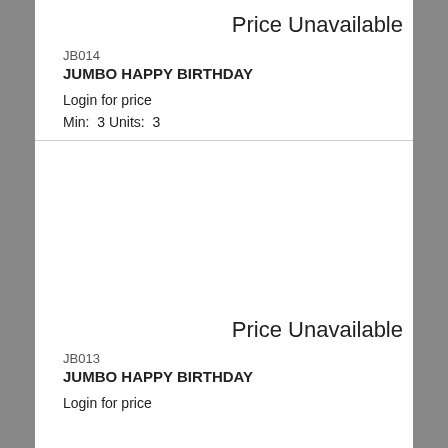Price Unavailable
JB014
JUMBO HAPPY BIRTHDAY
Login for price
Min:  3 Units:  3
Price Unavailable
JB013
JUMBO HAPPY BIRTHDAY
Login for price